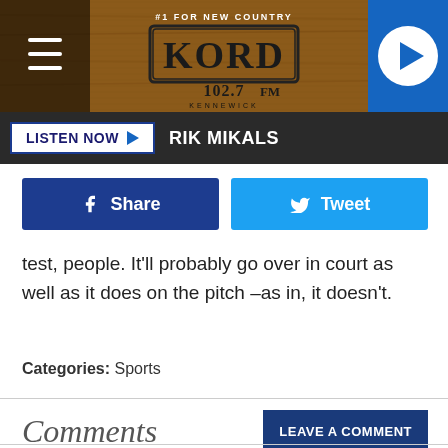[Figure (screenshot): KORD 102.7 FM radio station header banner with logo on wood-textured background]
LISTEN NOW ▶  RIK MIKALS
Share  Tweet
test, people. It'll probably go over in court as well as it does on the pitch –as in, it doesn't.
Categories: Sports
Comments
LEAVE A COMMENT